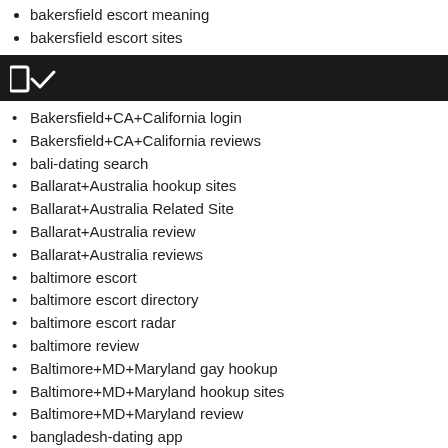bakersfield escort meaning
bakersfield escort sites
[Figure (other): Dark navigation bar with a logo/icon showing bracket and checkmark symbol]
Bakersfield+CA+California login
Bakersfield+CA+California reviews
bali-dating search
Ballarat+Australia hookup sites
Ballarat+Australia Related Site
Ballarat+Australia review
Ballarat+Australia reviews
baltimore escort
baltimore escort directory
baltimore escort radar
baltimore review
Baltimore+MD+Maryland gay hookup
Baltimore+MD+Maryland hookup sites
Baltimore+MD+Maryland review
bangladesh-dating app
bangladesh-dating reviews
Bangpals review
Baptist Dating only consumer reports
Baptist Dating review
Baptist Dating tips
Baptist Dating top 10
Baptist Dating username